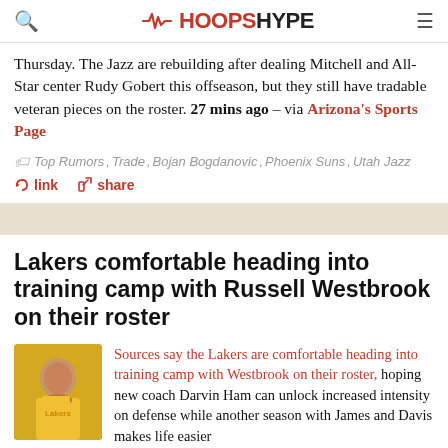HOOPSHYPE
Thursday. The Jazz are rebuilding after dealing Mitchell and All-Star center Rudy Gobert this offseason, but they still have tradable veteran pieces on the roster. 27 mins ago – via Arizona's Sports Page
Top Rumors, Trade, Bojan Bogdanovic, Phoenix Suns, Utah Jazz
link   share
Lakers comfortable heading into training camp with Russell Westbrook on their roster
Sources say the Lakers are comfortable heading into training camp with Westbrook on their roster, hoping new coach Darvin Ham can unlock increased intensity on defense while another season with James and Davis makes life easier